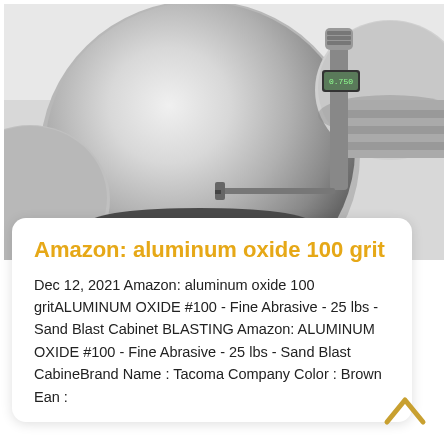[Figure (photo): Close-up photo of shiny polished aluminum disc/circle being measured with a digital micrometer caliper. Multiple aluminum discs visible in background.]
Amazon: aluminum oxide 100 grit
Dec 12, 2021 Amazon: aluminum oxide 100 gritALUMINUM OXIDE #100 - Fine Abrasive - 25 lbs - Sand Blast Cabinet BLASTING Amazon: ALUMINUM OXIDE #100 - Fine Abrasive - 25 lbs - Sand Blast CabineBrand Name : Tacoma Company Color : Brown Ean :